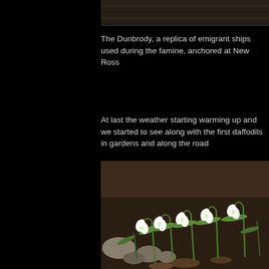[Figure (photo): Top portion of a photo showing wooden planks or ship hull in dark brown tones, cropped at top of page]
The Dunbrody, a replica of emigrant ships used during the famine, anchored at New Ross
At last the weather starting warming up and we started to see along with the first daffodils in gardens and along the road
[Figure (photo): Photograph of snowdrops (white drooping flowers) growing in a garden bed with dark soil and rocks visible]